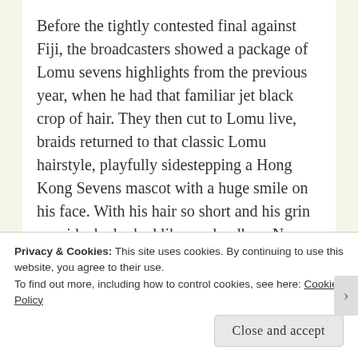Before the tightly contested final against Fiji, the broadcasters showed a package of Lomu sevens highlights from the previous year, when he had that familiar jet black crop of hair. They then cut to Lomu live, braids returned to that classic Lomu hairstyle, playfully sidestepping a Hong Kong Sevens mascot with a huge smile on his face. With his hair so short and his grin so wide, he looked like a schoolboy. New Zealand won the match and the tournament, almost single-handedly because of Cullen, but Lomu lingered in
Privacy & Cookies: This site uses cookies. By continuing to use this website, you agree to their use.
To find out more, including how to control cookies, see here: Cookie Policy
Close and accept